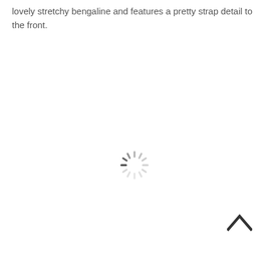lovely stretchy bengaline and features a pretty strap detail to the front.
[Figure (other): Circular loading spinner icon with radiating dashes in a clock-like pattern, rendered in gray]
[Figure (other): Upward-pointing chevron/caret symbol (^) in dark gray, used as a scroll-to-top button]